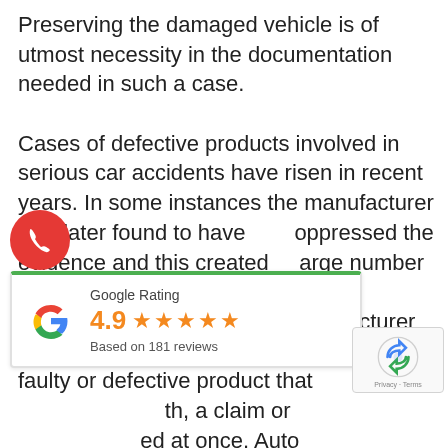Preserving the damaged vehicle is of utmost necessity in the documentation needed in such a case.
Cases of defective products involved in serious car accidents have risen in recent years. In some instances the manufacturer was later found to have suppressed the evidence and this created a large number of accidents for which they are now responsible. When an auto manufacturer or parts manufacturer has provided a faulty or defective product that caused injury or death, a claim or lawsuit should be filed at once. Auto accident lawsuits are complex and often difficult and can require litigation in court. Finding an experienced
[Figure (other): Red circular phone/call button icon]
[Figure (other): Google Rating widget showing 4.9 stars based on 181 reviews]
[Figure (other): reCAPTCHA logo widget with Privacy - Terms text]